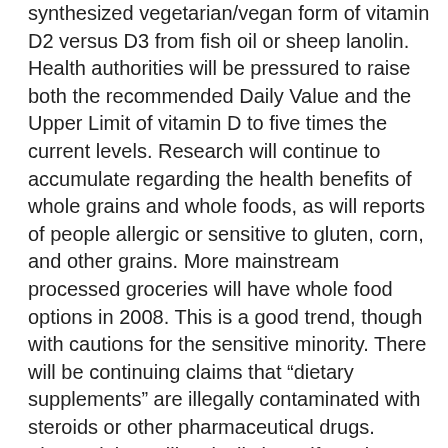synthesized vegetarian/vegan form of vitamin D2 versus D3 from fish oil or sheep lanolin. Health authorities will be pressured to raise both the recommended Daily Value and the Upper Limit of vitamin D to five times the current levels. Research will continue to accumulate regarding the health benefits of whole grains and whole foods, as will reports of people allergic or sensitive to gluten, corn, and other grains. More mainstream processed groceries will have whole food options in 2008. This is a good trend, though with cautions for the sensitive minority. There will be continuing claims that “dietary supplements” are illegally contaminated with steroids or other pharmaceutical drugs. These claims will typically be self-serving and defensive, made primarily by athletes accused of cheating by using banned substances. Beyond the obvious fact that legitimate supplement manufacturers do not have illegal substances on hand and that GMP (Good Manufacturing Practices certification) quality manufacturing protocols would avoid inadvertent contamination, these accusations are a barometer of how “unregulated” the mainstream media and the public thinks dietary supplements are. While there are plenty of regulations written specifically to regulate supplements, and even the FDA claims that it has